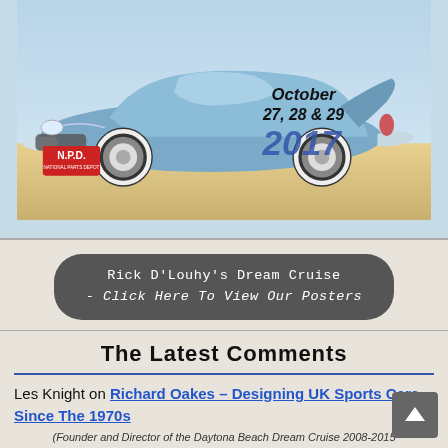[Figure (illustration): Illustrated blue classic car (1950s style) with NPD logo and event text: October 27, 28 & 29 2017]
(Founder and Director of the Daytona Beach Dream Cruise 2008-2015
[Figure (other): Dark rounded button: Rick D'Louhy's Dream Cruise - Click Here To View Our Posters]
The Latest Comments
Les Knight on Richard Oakes – Designing UK Sports Cars Since The 1970s
In South Africa we call the Nova the Eagle. I am a very proud owner
Dale Knight on 1954 Frazer Custom – The Walter Omelenchuk Special
I thourly enjoy stories along these lines. Keep them coming! PLEASE, and THANKS.